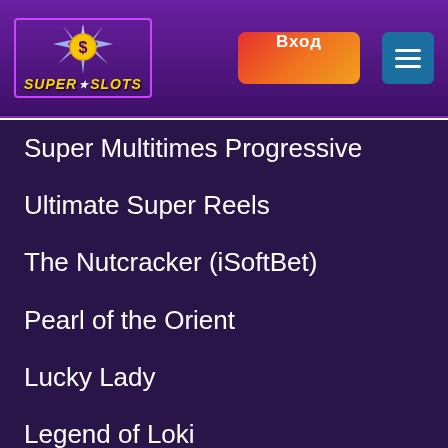[Figure (logo): Super Slots casino logo with star burst graphic, yellow text on purple background with pink border]
[Figure (screenshot): Orange-red gradient button with white Cyrillic text 'Вход' (Login)]
[Figure (screenshot): Blue square hamburger menu button with three white horizontal lines]
Super Multitimes Progressive
Ultimate Super Reels
The Nutcracker (iSoftBet)
Pearl of the Orient
Lucky Lady
Legend of Loki
Chapel Take...